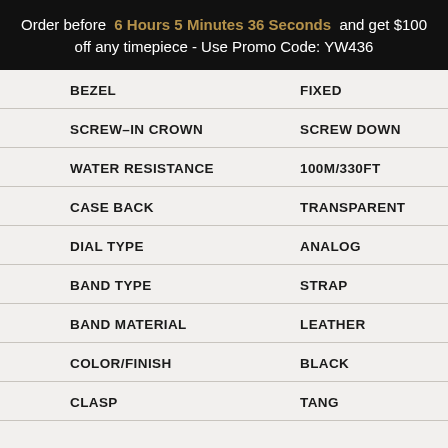Order before 6 Hours 5 Minutes 36 Seconds and get $100 off any timepiece - Use Promo Code: YW436
| Attribute | Value |
| --- | --- |
| BEZEL | FIXED |
| SCREW-IN CROWN | SCREW DOWN |
| WATER RESISTANCE | 100M/330FT |
| CASE BACK | TRANSPARENT |
| DIAL TYPE | ANALOG |
| BAND TYPE | STRAP |
| BAND MATERIAL | LEATHER |
| COLOR/FINISH | BLACK |
| CLASP | TANG |